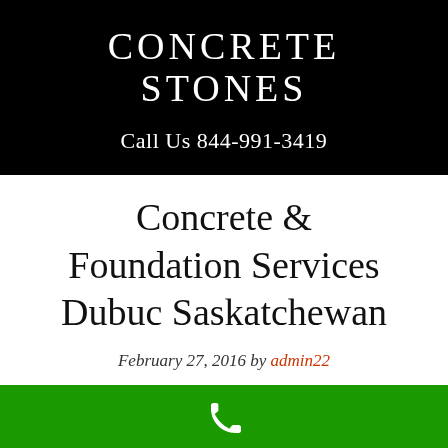CONCRETE STONES
Call Us 844-991-3419
Concrete & Foundation Services Dubuc Saskatchewan
February 27, 2016 by admin22
[Figure (illustration): Green footer bar with white phone icon]